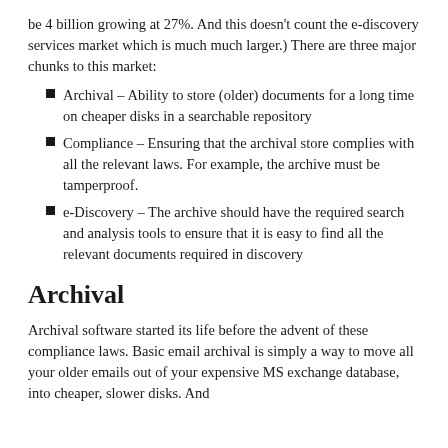be 4 billion growing at 27%. And this doesn't count the e-discovery services market which is much much larger.) There are three major chunks to this market:
Archival – Ability to store (older) documents for a long time on cheaper disks in a searchable repository
Compliance – Ensuring that the archival store complies with all the relevant laws. For example, the archive must be tamperproof.
e-Discovery – The archive should have the required search and analysis tools to ensure that it is easy to find all the relevant documents required in discovery
Archival
Archival software started its life before the advent of these compliance laws. Basic email archival is simply a way to move all your older emails out of your expensive MS exchange database, into cheaper, slower disks. And